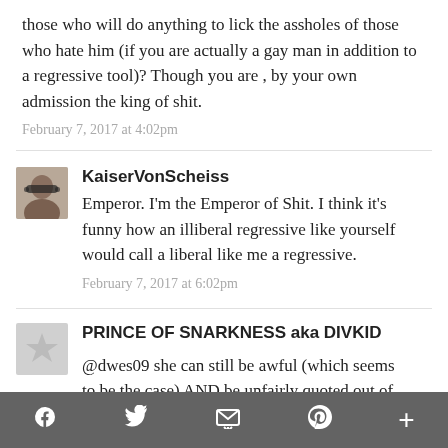those who will do anything to lick the assholes of those who hate him (if you are actually a gay man in addition to a regressive tool)? Though you are , by your own admission the king of shit.
February 7, 2017 at 4:02pm
KaiserVonScheiss
Emperor. I'm the Emperor of Shit. I think it's funny how an illiberal regressive like yourself would call a liberal like me a regressive.
February 7, 2017 at 6:02pm
PRINCE OF SNARKNESS aka DIVKID
@dwes09 she can still be awful (which seems to be the case) AND be unfairly quoted out of